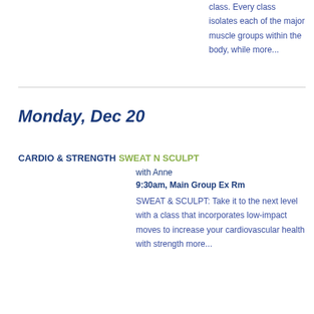class. Every class isolates each of the major muscle groups within the body, while more...
Monday, Dec 20
CARDIO & STRENGTH SWEAT N SCULPT with Anne 9:30am, Main Group Ex Rm SWEAT & SCULPT: Take it to the next level with a class that incorporates low-impact moves to increase your cardiovascular health with strength more...